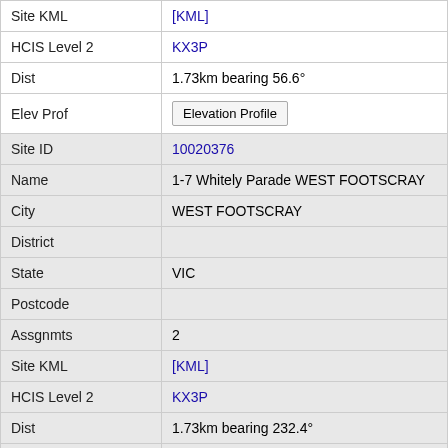| Field | Value |
| --- | --- |
| Site KML | [KML] |
| HCIS Level 2 | KX3P |
| Dist | 1.73km bearing 56.6° |
| Elev Prof | Elevation Profile |
| Site ID | 10020376 |
| Name | 1-7 Whitely Parade WEST FOOTSCRAY |
| City | WEST FOOTSCRAY |
| District |  |
| State | VIC |
| Postcode |  |
| Assgnmts | 2 |
| Site KML | [KML] |
| HCIS Level 2 | KX3P |
| Dist | 1.73km bearing 232.4° |
| Elev Prof | Elevation Profile |
| Site ID | 10026832 |
| Name | TC8 cnr Geelong & Ballarat Roads FOOTSCRAY |